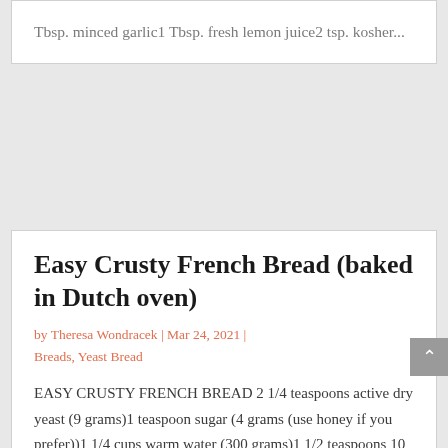Tbsp. minced garlic1 Tbsp. fresh lemon juice2 tsp. kosher...
Easy Crusty French Bread (baked in Dutch oven)
by Theresa Wondracek | Mar 24, 2021 | Breads, Yeast Bread
EASY CRUSTY FRENCH BREAD 2 1/4 teaspoons active dry yeast (9 grams)1 teaspoon sugar (4 grams (use honey if you prefer))1 1/4 cups warm water (300 grams)1 1/2 teaspoons 10 grams kosher